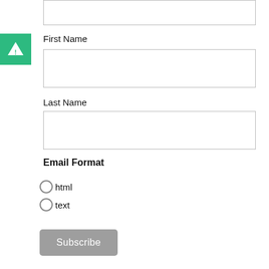[Figure (logo): Green square logo with white triangle 'A' symbol (Appcues/similar brand logo)]
First Name
Last Name
Email Format
html
text
Subscribe